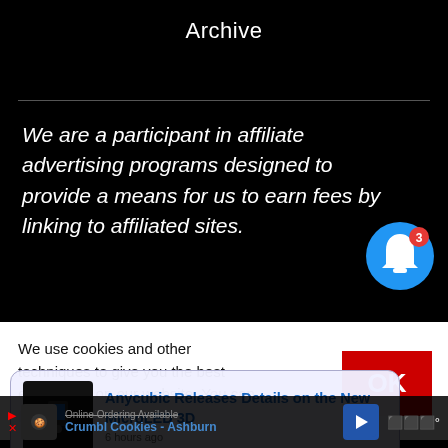Archive
We are a participant in affiliate advertising programs designed to provide a means for us to earn fees by linking to affiliated sites.
[Figure (illustration): Blue circular notification bell icon with red badge showing count 3]
We use cookies and other techniques to give you the best experience on our website. You can find out more here.
[Figure (screenshot): Notification popup: Anycubic Releases Details on the New MicroLED 3D — 6 hours ago]
Online Ordering Available Crumbl Cookies - Ashburn